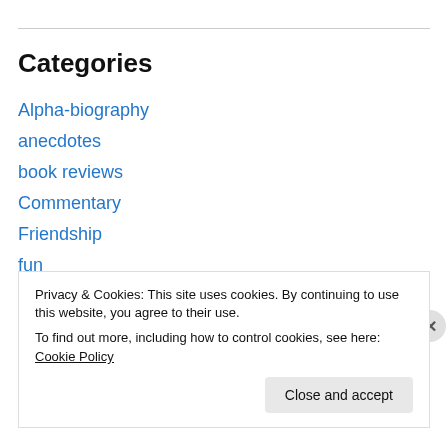Categories
Alpha-biography
anecdotes
book reviews
Commentary
Friendship
fun
Grace Awakening
Privacy & Cookies: This site uses cookies. By continuing to use this website, you agree to their use.
To find out more, including how to control cookies, see here: Cookie Policy
Close and accept